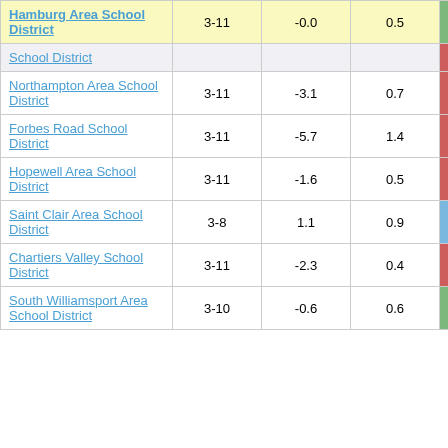| District | Grades | Col3 | Col4 | Score |
| --- | --- | --- | --- | --- |
| Hamburg Area School District | 3-11 | -0.0 | 0.5 | -0.00 |
| School District |  |  |  |  |
| Northampton Area School District | 3-11 | -3.1 | 0.7 | -4.80 |
| Forbes Road School District | 3-11 | -5.7 | 1.4 | -4.13 |
| Hopewell Area School District | 3-11 | -1.6 | 0.5 | -3.03 |
| Saint Clair Area School District | 3-8 | 1.1 | 0.9 | 1.25 |
| Chartiers Valley School District | 3-11 | -2.3 | 0.4 | -5.52 |
| South Williamsport Area School District | 3-10 | -0.6 | 0.6 | -0.85 |